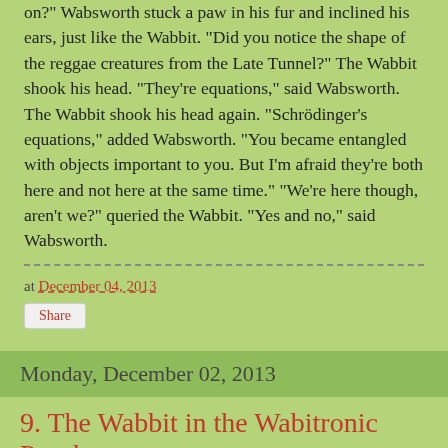on?" Wabsworth stuck a paw in his fur and inclined his ears, just like the Wabbit. "Did you notice the shape of the reggae creatures from the Late Tunnel?" The Wabbit shook his head. "They're equations," said Wabsworth. The Wabbit shook his head again. "Schrödinger's equations," added Wabsworth. "You became entangled with objects important to you. But I'm afraid they're both here and not here at the same time." "We're here though, aren't we?" queried the Wabbit. "Yes and no," said Wabsworth.
at December 04, 2013
Share
Monday, December 02, 2013
9. The Wabbit in the Wabitronic Psyche
[Figure (photo): A colorful scene featuring a yellow school bus and artistic/fantastical characters in dark background]